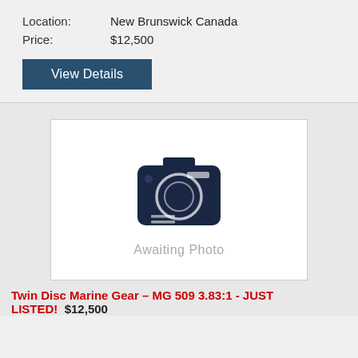Location: New Brunswick Canada
Price: $12,500
View Details
[Figure (illustration): Placeholder image showing a camera icon silhouette in dark navy blue with the text 'Awaiting Photo' below it, inside a white bordered box on a light grey background.]
Twin Disc Marine Gear – MG 509 3.83:1 - JUST LISTED! $12,500